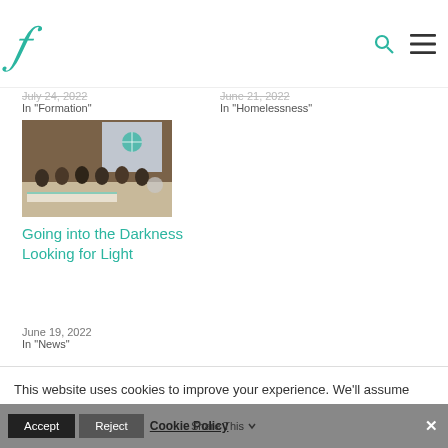F [logo] — website header with search and menu icons
July 24, 2022
In "Formation"
June 21, 2022
In "Homelessness"
[Figure (photo): Photograph of a panel of people seated at a table with a projected screen displaying a globe logo in the background]
Going into the Darkness Looking for Light
June 19, 2022
In "News"
This website uses cookies to improve your experience. We'll assume you're ok with this, but you can opt-out if you wish.
Accept  Reject  Cookie Policy  Share This  ×